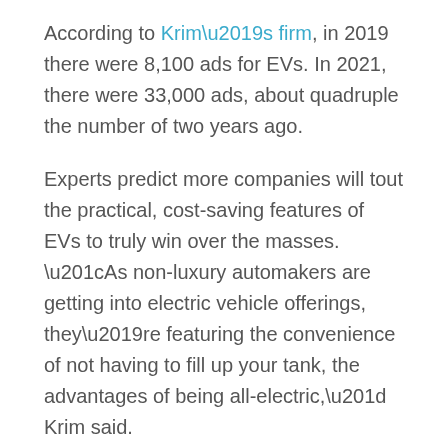According to Krim's firm, in 2019 there were 8,100 ads for EVs. In 2021, there were 33,000 ads, about quadruple the number of two years ago.
Experts predict more companies will tout the practical, cost-saving features of EVs to truly win over the masses. “As non-luxury automakers are getting into electric vehicle offerings, they’re featuring the convenience of not having to fill up your tank, the advantages of being all-electric,” Krim said.
Facebook  Twitter